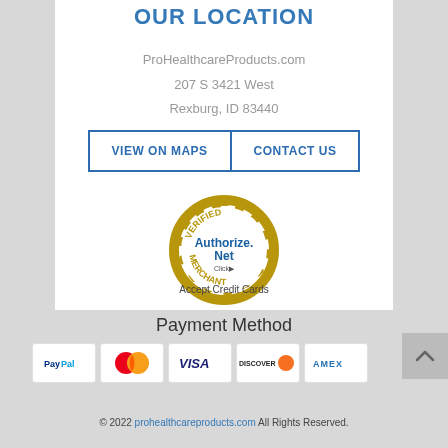OUR LOCATION
ProHealthcareProducts.com
207 S 3421 West
Rexburg, ID 83440
VIEW ON MAPS   CONTACT US
[Figure (logo): Authorize.Net Verified Merchant seal with 'Click' text and gold ring border]
Accept Credit Cards
Payment Method
[Figure (logo): Payment method icons: PayPal, Mastercard, Visa, Discover, Amex]
© 2022 prohealthcareproducts.com All Rights Reserved.